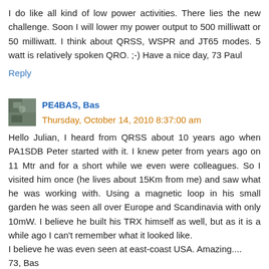I do like all kind of low power activities. There lies the new challenge. Soon I will lower my power output to 500 milliwatt or 50 milliwatt. I think about QRSS, WSPR and JT65 modes. 5 watt is relatively spoken QRO. ;-) Have a nice day, 73 Paul
Reply
[Figure (photo): Small avatar photo of PE4BAS, Bas]
PE4BAS, Bas  Thursday, October 14, 2010 8:37:00 am
Hello Julian, I heard from QRSS about 10 years ago when PA1SDB Peter started with it. I knew peter from years ago on 11 Mtr and for a short while we even were colleagues. So I visited him once (he lives about 15Km from me) and saw what he was working with. Using a magnetic loop in his small garden he was seen all over Europe and Scandinavia with only 10mW. I believe he built his TRX himself as well, but as it is a while ago I can't remember what it looked like.
I believe he was even seen at east-coast USA. Amazing....
73, Bas
Reply